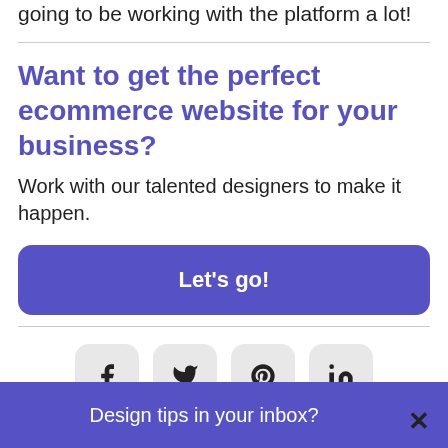going to be working with the platform a lot!
Want to get the perfect ecommerce website for your business?
Work with our talented designers to make it happen.
[Figure (other): Large purple rounded button with white bold text: Let's go!]
[Figure (other): Row of four social media icon buttons: Facebook (f), Twitter (bird), Pinterest (P), LinkedIn (in)]
[Figure (other): Purple banner at bottom with white text: Design tips in your inbox? and a close X button]